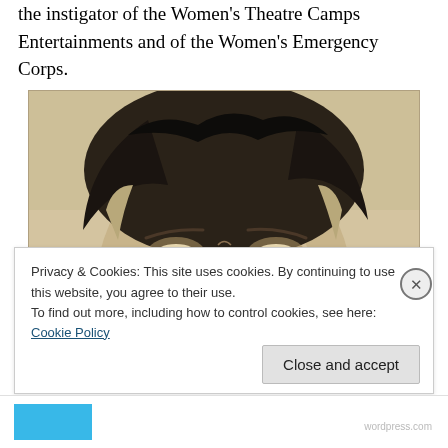the instigator of the Women's Theatre Camps Entertainments and of the Women's Emergency Corps.
[Figure (photo): Black and white portrait photograph showing the upper portion of a person's face — forehead, hair, and eyes — in a vintage sepia-toned style.]
Privacy & Cookies: This site uses cookies. By continuing to use this website, you agree to their use.
To find out more, including how to control cookies, see here: Cookie Policy
Close and accept